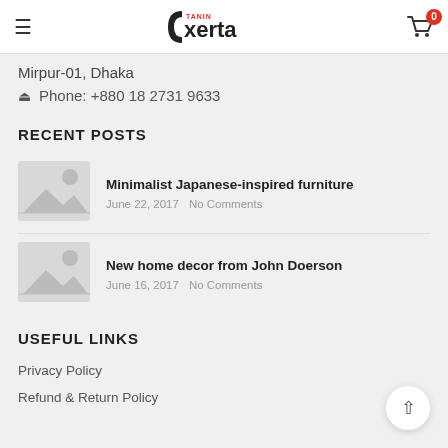Tanin Exerta — navigation header with hamburger menu, logo, and cart icon (badge: 0)
Mirpur-01, Dhaka
Phone: +880 18 2731 9633
RECENT POSTS
[Figure (illustration): Placeholder image thumbnail for blog post]
Minimalist Japanese-inspired furniture
June 22, 2017  No Comments
[Figure (illustration): Placeholder image thumbnail for blog post]
New home decor from John Doerson
June 16, 2017  No Comments
USEFUL LINKS
Privacy Policy
Refund & Return Policy